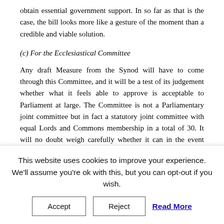obtain essential government support. In so far as that is the case, the bill looks more like a gesture of the moment than a credible and viable solution.
(c) For the Ecclesiastical Committee
Any draft Measure from the Synod will have to come through this Committee, and it will be a test of its judgement whether what it feels able to approve is acceptable to Parliament at large. The Committee is not a Parliamentary joint committee but in fact a statutory joint committee with equal Lords and Commons membership in a total of 30. It will no doubt weigh carefully whether it can in the event certify under the 1919 'Enabling' Act “as to the [Measure’s] expediency thereof, especially in relation to the constitutional rights of all [Her] Majesty’s  subjects”.
This website uses cookies to improve your experience. We'll assume you're ok with this, but you can opt-out if you wish.